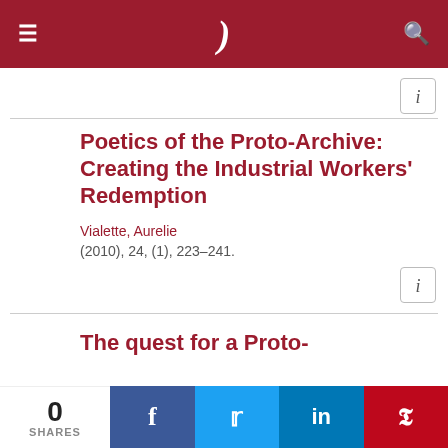≡  )  🔍
Poetics of the Proto-Archive: Creating the Industrial Workers' Redemption
Vialette, Aurelie
(2010), 24, (1), 223–241.
The quest for a Proto-
0 SHARES  f  t  in  P